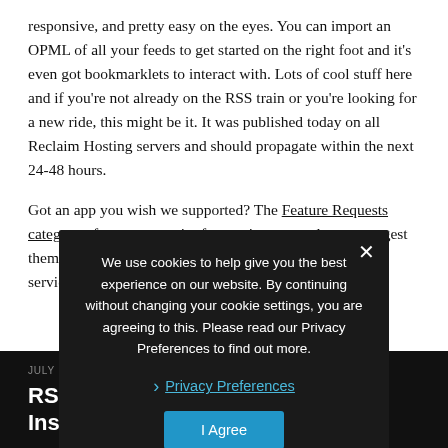responsive, and pretty easy on the eyes. You can import an OPML of all your feeds to get started on the right foot and it's even got bookmarklets to interact with. Lots of cool stuff here and if you're not already on the RSS train or you're looking for a new ride, this might be it. It was published today on all Reclaim Hosting servers and should propagate within the next 24-48 hours.
Got an app you wish we supported? The Feature Requests category of our community forums is a great place to suggest them. We're always looking to find ways to support the services everyone in our community uses.
[Figure (screenshot): Cookie consent overlay on dark background reading: 'We use cookies to help give you the best experience on our website. By continuing without changing your cookie settings, you are agreeing to this. Please read our Privacy Preferences to find out more.' with a close X button, a Privacy Preferences link, and an I Agree button.]
JULY 11, 2019
RSS is Not Dead: FreshRSS in Installatron